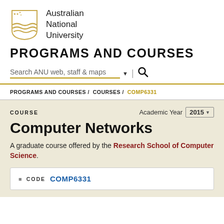[Figure (logo): Australian National University shield logo in gold/brown]
Australian National University
PROGRAMS AND COURSES
Search ANU web, staff & maps
PROGRAMS AND COURSES / COURSES / COMP6331
COURSE
Academic Year 2015
Computer Networks
A graduate course offered by the Research School of Computer Science.
CODE COMP6331